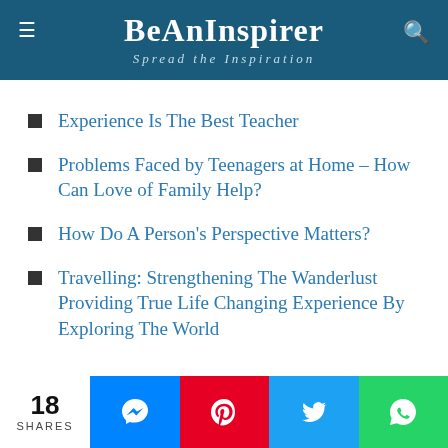BeAnInspirer – Spread the Inspiration
Experience Is The Best Teacher
Problems Faced by Teenagers at Home – How Can Love of Family Help?
How Do A Person's Perspective Matters?
Travelling: Strengthening The Wanderlust Providing True Life Changing Experience By Exploring The World
18 SHARES